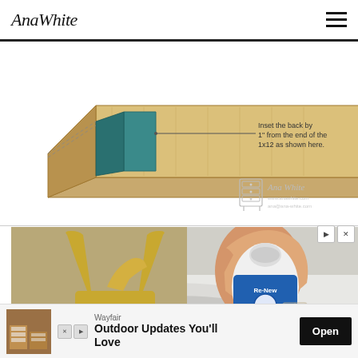AnaWhite
[Figure (engineering-diagram): Illustration of a wooden board (1x12) shown at an angle with a teal/dark green panel inset. An arrow callout reads: 'Inset the back by 1" from the end of the 1x12 as shown here.' Ana White logo watermark with website URLs visible in lower right of diagram.]
[Figure (photo): Photo of a hand squeezing a Re-New laundry detergent bottle over a white sink basin, with gold/brass bathroom faucet in the background. Advertisement image.]
Wayfair
Outdoor Updates You'll Love
Open